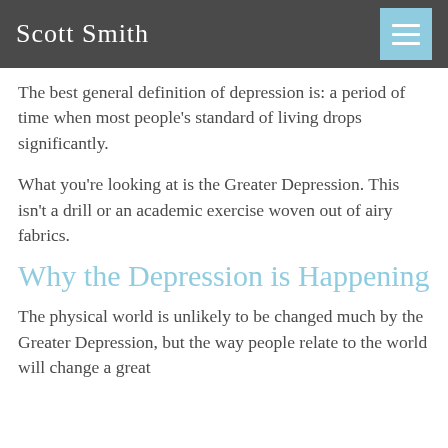Scott Smith
The best general definition of depression is: a period of time when most people's standard of living drops significantly.
What you're looking at is the Greater Depression. This isn't a drill or an academic exercise woven out of airy fabrics.
Why the Depression is Happening
The physical world is unlikely to be changed much by the Greater Depression, but the way people relate to the world will change a great